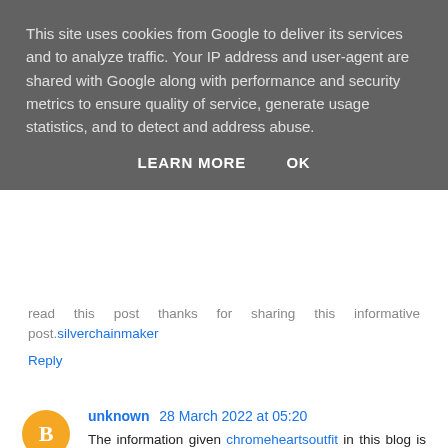This site uses cookies from Google to deliver its services and to analyze traffic. Your IP address and user-agent are shared with Google along with performance and security metrics to ensure quality of service, generate usage statistics, and to detect and address abuse.
LEARN MORE   OK
read this post thanks for sharing this informative post. silverchainmaker
Reply
unknown  28 March 2022 at 05:20
The information given chromeheartsoutfit in this blog is particularly surprising.
Reply
officialhoodie  28 March 2022 at 11:12
http://shoptylerthecreator.com is the best thing that you